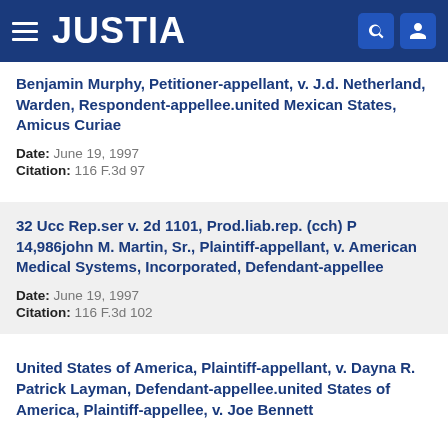JUSTIA
Benjamin Murphy, Petitioner-appellant, v. J.d. Netherland, Warden, Respondent-appellee.united Mexican States, Amicus Curiae
Date: June 19, 1997
Citation: 116 F.3d 97
32 Ucc Rep.ser v. 2d 1101, Prod.liab.rep. (cch) P 14,986john M. Martin, Sr., Plaintiff-appellant, v. American Medical Systems, Incorporated, Defendant-appellee
Date: June 19, 1997
Citation: 116 F.3d 102
United States of America, Plaintiff-appellant, v. Dayna R. Patrick Layman, Defendant-appellee.united States of America, Plaintiff-appellee, v. Joe Bennett